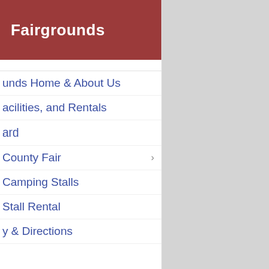Fairgrounds
County Fair >
unds Home & About Us
acilities, and Rentals
ard
County Fair >
Camping Stalls
Stall Rental
y & Directions
inty Fair &
County Fair